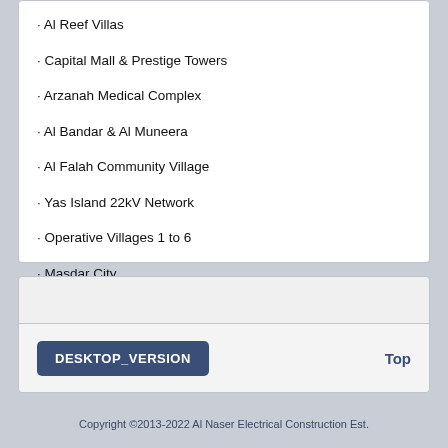· Al Reef Villas
· Capital Mall & Prestige Towers
· Arzanah Medical Complex
· Al Bandar & Al Muneera
· Al Falah Community Village
· Yas Island 22kV Network
· Operative Villages 1 to 6
· Masdar City
DESKTOP_VERSION   Top
Copyright ©2013-2022 Al Naser Electrical Construction Est.